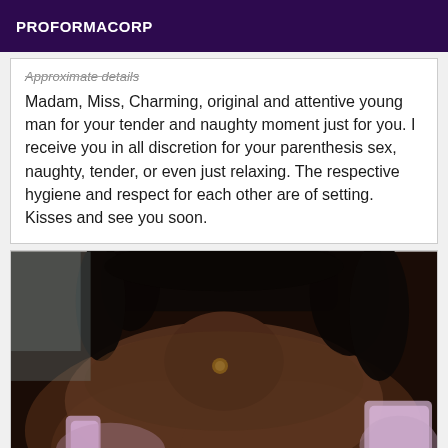PROFORMACORP
Madam, Miss, Charming, original and attentive young man for your tender and naughty moment just for you. I receive you in all discretion for your parenthesis sex, naughty, tender, or even just relaxing. The respective hygiene and respect for each other are of setting. Kisses and see you soon.
[Figure (photo): Close-up photo of a person wearing a light purple/lavender top, with braided hair, showing a gold necklace pendant.]